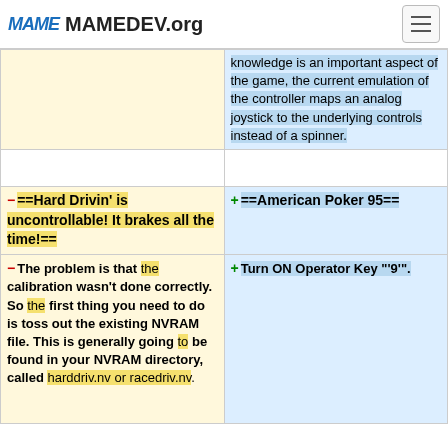MAME MAMEDEV.org
| (continuation) ...knowledge is an important aspect of the game, the current emulation of the controller maps an analog joystick to the underlying controls instead of a spinner. | (empty) |
| (empty) | (empty) |
| - ==Hard Drivin' is uncontrollable! It brakes all the time!== | + ==American Poker 95== |
| - The problem is that the calibration wasn't done correctly. So the first thing you need to do is toss out the existing NVRAM file. This is generally going to be found in your NVRAM directory, called harddriv.nv or racedriv.nv. | + Turn ON Operator Key "'9'". |